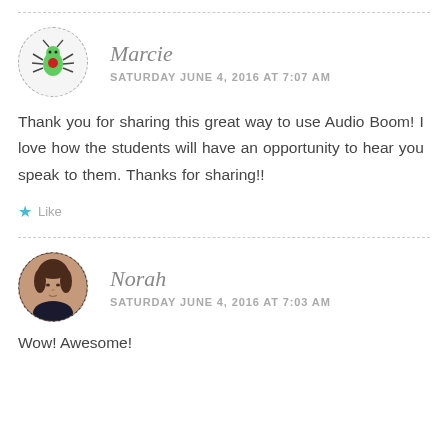[Figure (illustration): Circular avatar with dashed border containing a cartoon green spider/bug with red accents]
Marcie
SATURDAY JUNE 4, 2016 AT 7:07 AM
Thank you for sharing this great way to use Audio Boom! I love how the students will have an opportunity to hear you speak to them. Thanks for sharing!!
Like
[Figure (photo): Circular avatar with dashed border containing a photo of a woman with short brown hair wearing a dark jacket]
Norah
SATURDAY JUNE 4, 2016 AT 7:03 AM
Wow! Awesome!